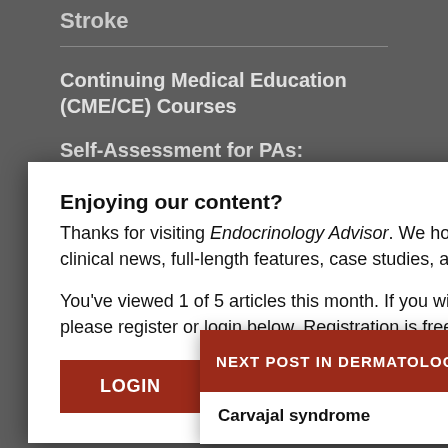Stroke
Continuing Medical Education (CME/CE) Courses
Self-Assessment for PAs: Emergency and Urgent Care Medicine
Enjoying our content?
Thanks for visiting Endocrinology Advisor. We hope you’re enjoying the latest clinical news, full-length features, case studies, and more.
You’ve viewed 1 of 5 articles this month. If you wish to read unlimited articles, please register or login below. Registration is free.
LOGIN
REGISTER
NEXT POST IN DERMATOLOGY
Carvajal syndrome